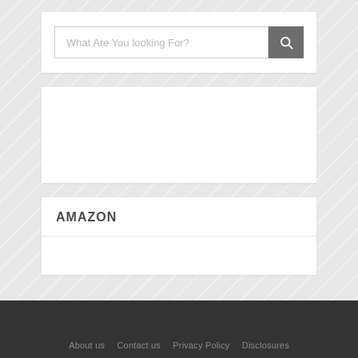[Figure (screenshot): Search input field with placeholder text 'What Are You looking For?' and a gray search button with magnifying glass icon]
[Figure (screenshot): Empty white content block]
AMAZON
[Figure (screenshot): Empty white Amazon widget content block]
About us  Contact us  Privacy Policy  Disclosures